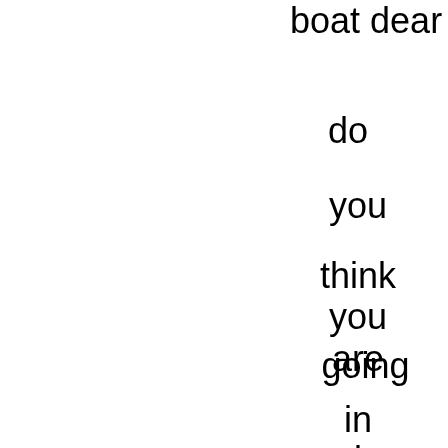boat dear whe
do
you
think
you
are
going
in
i
listen